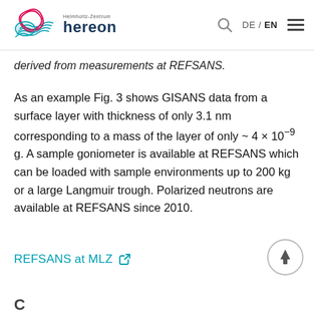Hereon – Helmholtz-Zentrum hereon – DE / EN
derived from measurements at REFSANS.
As an example Fig. 3 shows GISANS data from a surface layer with thickness of only 3.1 nm corresponding to a mass of the layer of only ~ 4 × 10⁻⁹ g. A sample goniometer is available at REFSANS which can be loaded with sample environments up to 200 kg or a large Langmuir trough. Polarized neutrons are available at REFSANS since 2010.
REFSANS at MLZ 🔗